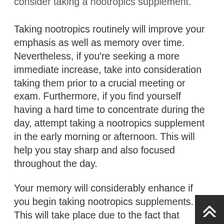consider taking a nootropics supplement.
Taking nootropics routinely will improve your emphasis as well as memory over time. Nevertheless, if you're seeking a more immediate increase, take into consideration taking them prior to a crucial meeting or exam. Furthermore, if you find yourself having a hard time to concentrate during the day, attempt taking a nootropics supplement in the early morning or afternoon. This will help you stay sharp and also focused throughout the day.
Your memory will considerably enhance if you begin taking nootropics supplements. This will take place due to the fact that nootropics enhance blood flow and also oxygenation to the brain.
Nootropics likewise help to protect the mind from damage by reducing swelling and free extreme damages. Additionally, nootropics can aid to repair